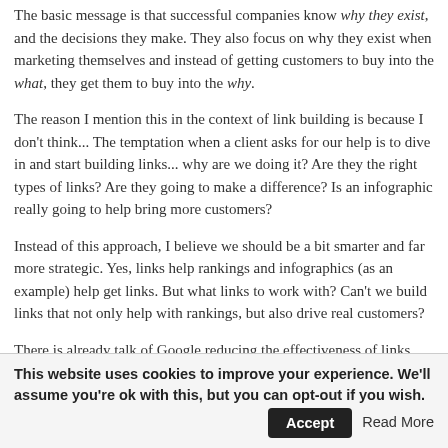The basic message is that successful companies know why they exist, and the decisions they make. They also focus on why they exist when marketing themselves and instead of getting customers to buy into the what, they get them to buy into the why.
The reason I mention this in the context of link building is because I don't think... The temptation when a client asks for our help is to dive in and start building links... why are we doing it? Are they the right types of links? Are they going to make a difference? Is an infographic really going to help bring more customers?
Instead of this approach, I believe we should be a bit smarter and far more strategic. Yes, links help rankings and infographics (as an example) help get links. But what links to work with? Can't we build links that not only help with rankings, but also drive real customers?
There is already talk of Google reducing the effectiveness of links built via infographics. Wouldn't it be nice to not have to worry about whatever update Google comes out with next?
Why does this business exist?
Whether a client comes to you for link building or not, I think this should be the first marketing campaign. To work with a client long-term, you need to really dive into...
This website uses cookies to improve your experience. We'll assume you're ok with this, but you can opt-out if you wish.